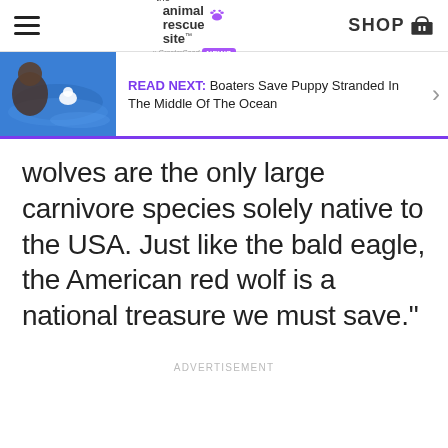the animal rescue site • NEWS | SHOP
[Figure (screenshot): Read Next banner: photo of puppy being rescued from ocean water, with text 'READ NEXT: Boaters Save Puppy Stranded In The Middle Of The Ocean']
wolves are the only large carnivore species solely native to the USA. Just like the bald eagle, the American red wolf is a national treasure we must save."
ADVERTISEMENT